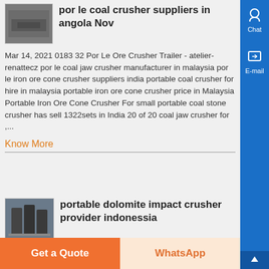por le coal crusher suppliers in angola Nov
Mar 14, 2021 0183 32 Por Le Ore Crusher Trailer - atelier-renattecz por le coal jaw crusher manufacturer in malaysia por le iron ore cone crusher suppliers india portable coal crusher for hire in malaysia portable iron ore cone crusher price in Malaysia Portable Iron Ore Cone Crusher For small portable coal stone crusher has sell 1322sets in India 20 of 20 coal jaw crusher for ,...
Know More
portable dolomite impact crusher provider indonessia
2021-6-17 Mobile dolomite crusher provider in